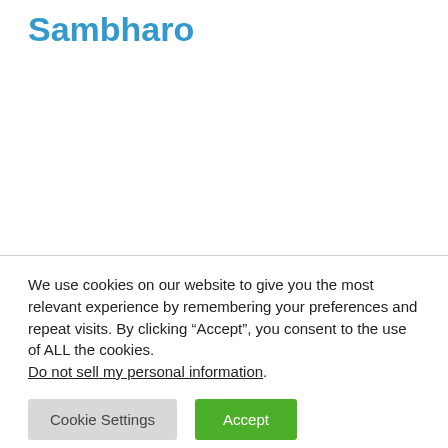Sambharo
We use cookies on our website to give you the most relevant experience by remembering your preferences and repeat visits. By clicking “Accept”, you consent to the use of ALL the cookies.
Do not sell my personal information.
Cookie Settings
Accept